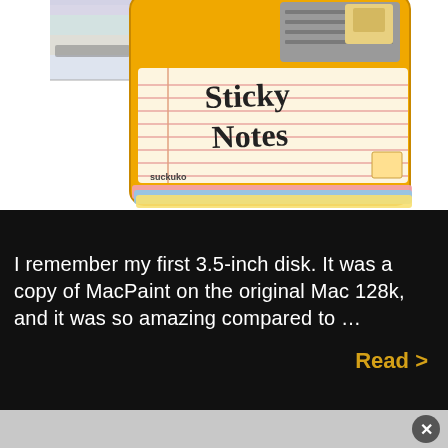[Figure (photo): A yellow floppy disk shaped sticky notes pad with colorful sticky notes fanning out from the bottom. The label on the floppy reads 'Sticky Notes' in handwritten style. Brand 'SUCK UK' visible. Another disk partially visible in upper left corner.]
I remember my first 3.5-inch disk. It was a copy of MacPaint on the original Mac 128k, and it was so amazing compared to …
Read >
[Figure (other): Gray banner at the bottom with a circular close/X button on the right side.]